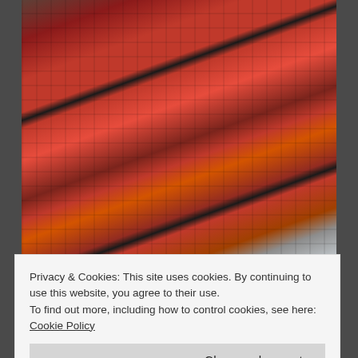[Figure (photo): An older man wearing glasses and a red plaid flannel shirt, reclining in a grey patterned chair, holding a sleeping infant dressed in white. The photo appears vintage/retro in style.]
Privacy & Cookies: This site uses cookies. By continuing to use this website, you agree to their use.
To find out more, including how to control cookies, see here: Cookie Policy
Close and accept
[Figure (photo): Partial view of another vintage photo at the bottom of the page, showing what appears to be a similar plaid shirt scene.]